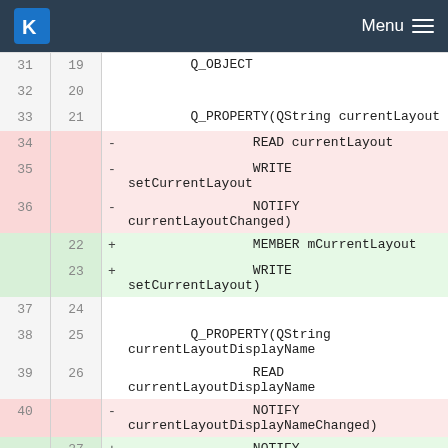KDE Menu
31  19      Q_OBJECT
32  20
33  21      Q_PROPERTY(QString currentLayout
34      -           READ currentLayout
35      -           WRITE setCurrentLayout
36      -           NOTIFY currentLayoutChanged)
    22  +           MEMBER mCurrentLayout
    23  +           WRITE setCurrentLayout)
37  24
38  25      Q_PROPERTY(QString currentLayoutDisplayName
39  26                  READ currentLayoutDisplayName
40      -           NOTIFY currentLayoutDisplayNameChanged)
    27  +           NOTIFY currentLayoutChanged)